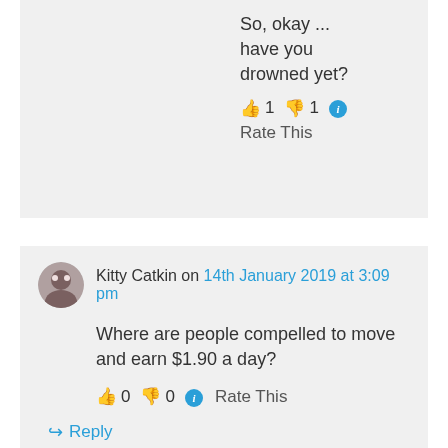So, okay ... have you drowned yet?
👍 1 👎 1 ℹ Rate This
Kitty Catkin on 14th January 2019 at 3:09 pm
Where are people compelled to move and earn $1.90 a day?
👍 0 👎 0 ℹ Rate This
↪ Reply